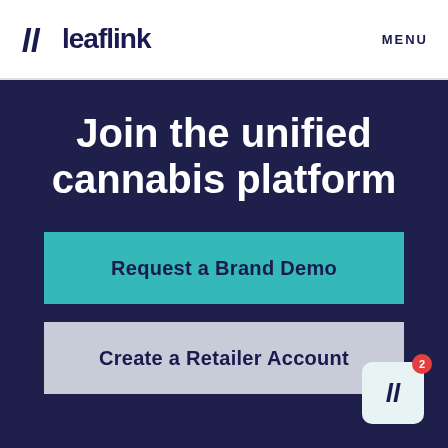[Figure (logo): LeafLink logo with stylized 'll' icon and wordmark 'leaflink' in dark navy]
MENU
Join the unified cannabis platform
Request a Brand Demo
Create a Retailer Account
[Figure (logo): Small LeafLink 'll' icon in bottom right corner with notification badge showing '2']